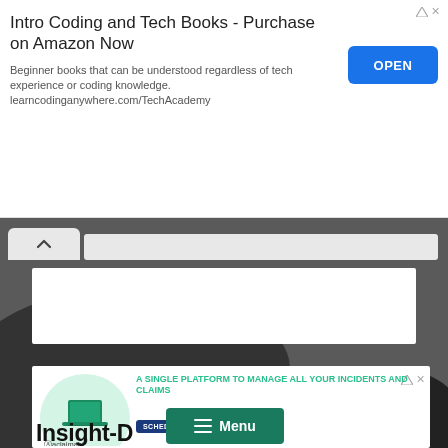[Figure (screenshot): Top advertisement banner for Intro Coding and Tech Books on Amazon, with OPEN button]
[Figure (screenshot): Web browser interface with collapse chevron button and URL bar on dark background]
[Figure (screenshot): Advertisement for Aclaimant: A Single Platform to Manage All Your Incidents and Claims, with Schedule a Demo button and laptop illustration]
[Figure (screenshot): Menu button overlay and partial Insight-D heading at bottom]